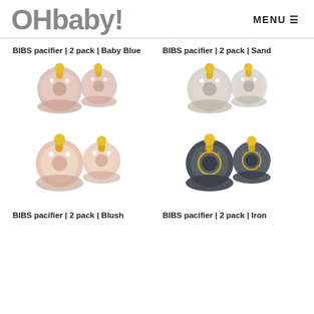OHbaby! | MENU
BIBS pacifier | 2 pack | Baby Blue
[Figure (photo): Two BIBS pacifiers in Baby Blue color with yellow nipple tops]
BIBS pacifier | 2 pack | Sand
[Figure (photo): Two BIBS pacifiers in Sand/Iron dark color with yellow nipple tops]
BIBS pacifier | 2 pack | Blush
[Figure (photo): Two BIBS pacifiers in Blush pink color with yellow nipple tops]
BIBS pacifier | 2 pack | Iron
[Figure (photo): Two BIBS pacifiers in Iron dark grey color with yellow nipple tops]